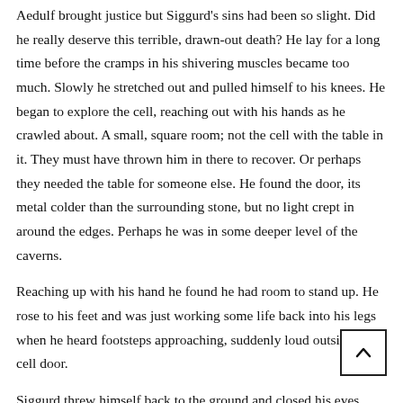Aedulf brought justice but Siggurd's sins had been so slight. Did he really deserve this terrible, drawn-out death? He lay for a long time before the cramps in his shivering muscles became too much. Slowly he stretched out and pulled himself to his knees. He began to explore the cell, reaching out with his hands as he crawled about. A small, square room; not the cell with the table in it. They must have thrown him in there to recover. Or perhaps they needed the table for someone else. He found the door, its metal colder than the surrounding stone, but no light crept in around the edges. Perhaps he was in some deeper level of the caverns.
Reaching up with his hand he found he had room to stand up. He rose to his feet and was just working some life back into his legs when he heard footsteps approaching, suddenly loud outside his cell door.
Siggurd threw himself back to the ground and closed his eyes. Perhaps they wouldn't check him; perhaps they'd think he was still asleep and leave him be for a little longer. Sooner or later they'd come, of course, but any d was worth it.